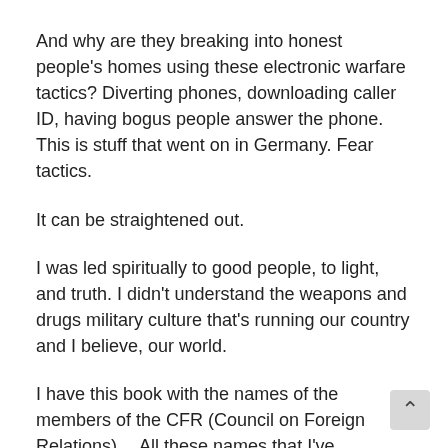And why are they breaking into honest people’s homes using these electronic warfare tactics? Diverting phones, downloading caller ID, having bogus people answer the phone. This is stuff that went on in Germany. Fear tactics.
It can be straightened out.
I was led spiritually to good people, to light, and truth. I didn’t understand the weapons and drugs military culture that’s running our country and I believe, our world.
I have this book with the names of the members of the CFR (Council on Foreign Relations)… All these names that I’ve underlined are friends of my husband or who I know personally. It’s an interesting list of elite political, military, and banking